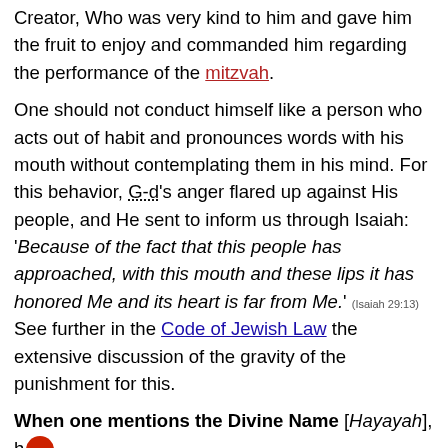Creator, Who was very kind to him and gave him the fruit to enjoy and commanded him regarding the performance of the mitzvah.
One should not conduct himself like a person who acts out of habit and pronounces words with his mouth without contemplating them in his mind. For this behavior, G-d's anger flared up against His people, and He sent to inform us through Isaiah: 'Because of the fact that this people has approached, with this mouth and these lips it has honored Me and its heart is far from Me.' (Isaiah 29:13) See further in the Code of Jewish Law the extensive discussion of the gravity of the punishment for this.
When one mentions the Divine Name [Hayayah], h...